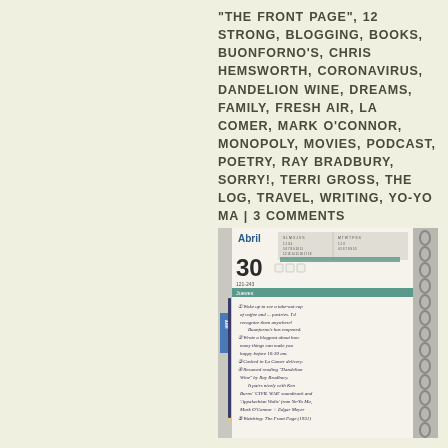"THE FRONT PAGE", 12 STRONG, BLOGGING, BOOKS, BUONFORNO'S, CHRIS HEMSWORTH, CORONAVIRUS, DANDELION WINE, DREAMS, FAMILY, FRESH AIR, LA COMER, MARK O'CONNOR, MONOPOLY, MOVIES, PODCAST, POETRY, RAY BRADBURY, SORRY!, TERRI GROSS, THE LOG, TRAVEL, WRITING, YO-YO MA | 3 COMMENTS
[Figure (photo): A photograph of an open spiral-bound planner/diary showing the date April 30 (Abril 30), with a small calendar grid at the top. The page contains handwritten journal entries numbered 1-5, including notes about coffee and pastries, a blog post about things that make you happy before 10:30am, La Comer delivery, reading 'Dandelion Wine' by Ray Bradbury paired with Ken Burns' 'Civil War' soundtrack and 'Appalachian Waltz' from Yo-Yo Ma, Mark O'Connor + Edgar Meyer, and watching 'The Front Page' (1931).]